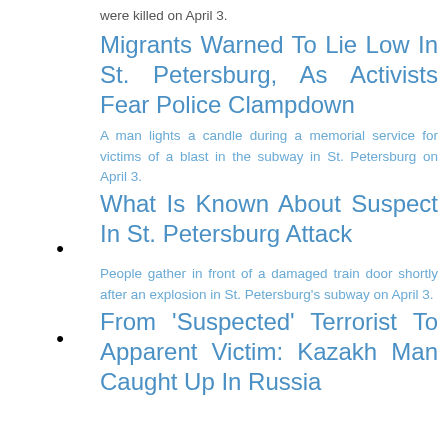were killed on April 3.
Migrants Warned To Lie Low In St. Petersburg, As Activists Fear Police Clampdown
[image] A man lights a candle during a memorial service for victims of a blast in the subway in St. Petersburg on April 3.
What Is Known About Suspect In St. Petersburg Attack
[image] People gather in front of a damaged train door shortly after an explosion in St. Petersburg's subway on April 3.
From 'Suspected' Terrorist To Apparent Victim: Kazakh Man Caught Up In Russia